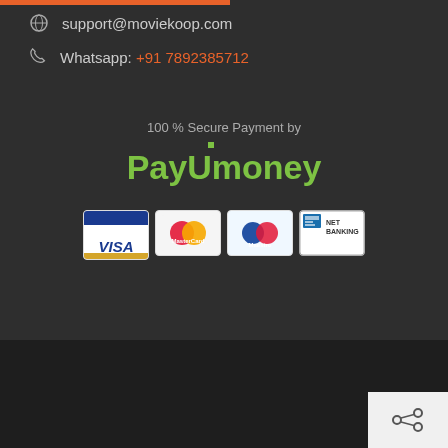support@moviekoop.com
Whatsapp: +91 7892385712
100 % Secure Payment by
[Figure (logo): PayUmoney payment gateway logo in green]
[Figure (infographic): Payment method icons: VISA, MasterCard, Maestro, Net Banking]
Copyright 2022 © Couplor Technologies Pvt. Ltd.